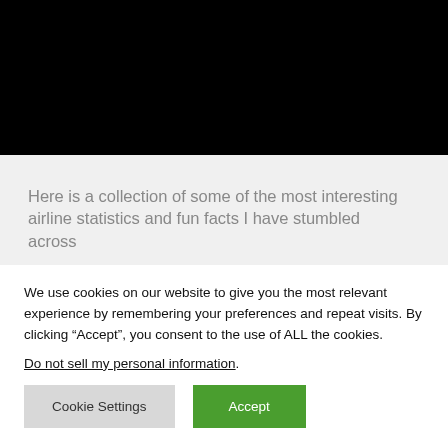[Figure (photo): Black rectangle representing a blacked-out or hidden image area at the top of the page]
Here is a collection of some of the most interesting airline statistics and fun facts I have stumbled across
We use cookies on our website to give you the most relevant experience by remembering your preferences and repeat visits. By clicking “Accept”, you consent to the use of ALL the cookies.
Do not sell my personal information.